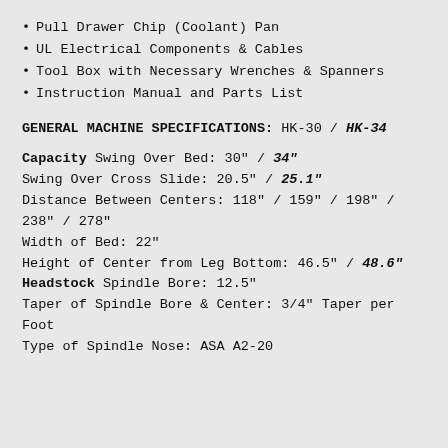Pull Drawer Chip (Coolant) Pan
UL Electrical Components & Cables
Tool Box with Necessary Wrenches & Spanners
Instruction Manual and Parts List
GENERAL MACHINE SPECIFICATIONS: HK-30 / HK-34
Capacity Swing Over Bed: 30" / 34"
Swing Over Cross Slide: 20.5" / 25.1"
Distance Between Centers: 118" / 159" / 198" / 238" / 278"
Width of Bed: 22"
Height of Center from Leg Bottom: 46.5" / 48.6"
Headstock Spindle Bore: 12.5"
Taper of Spindle Bore & Center: 3/4" Taper per Foot
Type of Spindle Nose: ASA A2-20